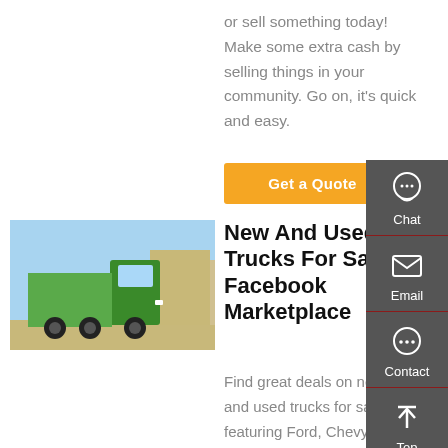or sell something today! Make some extra cash by selling things in your community. Go on, it's quick and easy.
Get a Quote
[Figure (photo): Green dump truck parked outdoors in front of industrial buildings]
New And Used Trucks For Sale | Facebook Marketplace
Find great deals on new and used trucks for sale featuring Ford, Chevy, GMC, Dodge, classic trucks, tow trucks, and
[Figure (infographic): Sidebar with Chat, Email, Contact, and Top navigation icons on dark grey background]